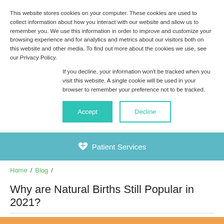This website stores cookies on your computer. These cookies are used to collect information about how you interact with our website and allow us to remember you. We use this information in order to improve and customize your browsing experience and for analytics and metrics about our visitors both on this website and other media. To find out more about the cookies we use, see our Privacy Policy.
If you decline, your information won't be tracked when you visit this website. A single cookie will be used in your browser to remember your preference not to be tracked.
Accept | Decline
Patient Services
Home / Blog /
Why are Natural Births Still Popular in 2021?